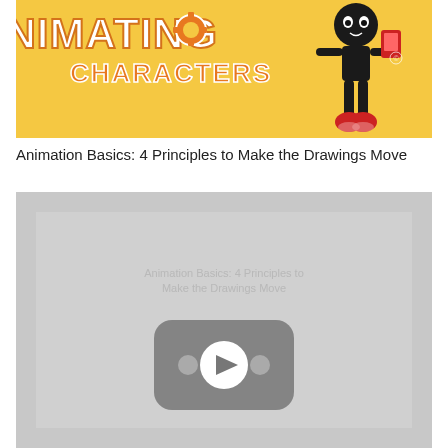[Figure (illustration): Yellow background thumbnail image for an animation course showing cartoon text 'ANIMATING CHARACTERS' with a cartoon character holding a camera/phone]
Animation Basics: 4 Principles to Make the Drawings Move
[Figure (screenshot): Gray video thumbnail with a YouTube-style play button icon (rounded rectangle with play triangle) in the center, on a light gray background]